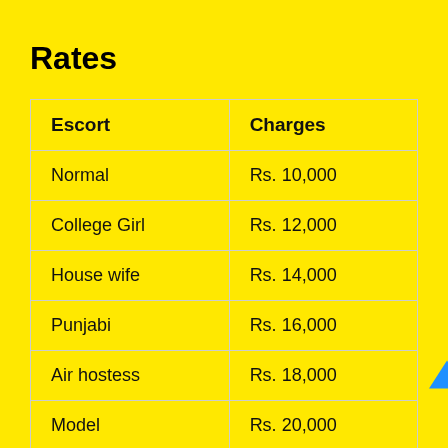Rates
| Escort | Charges |
| --- | --- |
| Normal | Rs. 10,000 |
| College Girl | Rs. 12,000 |
| House wife | Rs. 14,000 |
| Punjabi | Rs. 16,000 |
| Air hostess | Rs. 18,000 |
| Model | Rs. 20,000 |
| Actress | Rs. 22,000 |